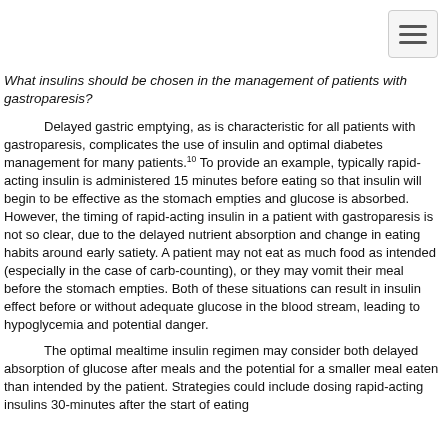[Figure (other): Hamburger menu icon button in top right corner]
What insulins should be chosen in the management of patients with gastroparesis?
Delayed gastric emptying, as is characteristic for all patients with gastroparesis, complicates the use of insulin and optimal diabetes management for many patients.10 To provide an example, typically rapid-acting insulin is administered 15 minutes before eating so that insulin will begin to be effective as the stomach empties and glucose is absorbed. However, the timing of rapid-acting insulin in a patient with gastroparesis is not so clear, due to the delayed nutrient absorption and change in eating habits around early satiety. A patient may not eat as much food as intended (especially in the case of carb-counting), or they may vomit their meal before the stomach empties. Both of these situations can result in insulin effect before or without adequate glucose in the blood stream, leading to hypoglycemia and potential danger.
The optimal mealtime insulin regimen may consider both delayed absorption of glucose after meals and the potential for a smaller meal eaten than intended by the patient. Strategies could include dosing rapid-acting insulins 30-minutes after the start of eating